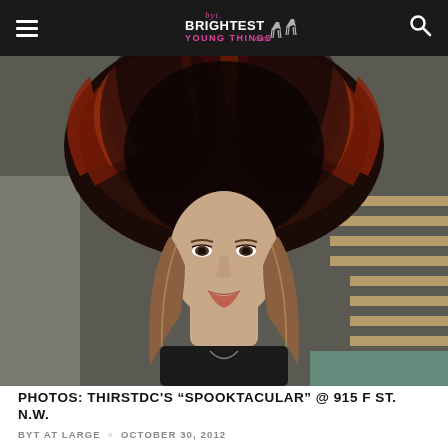BYT: Brightest Young Things
[Figure (photo): Woman wearing a large elaborate dark feathered headdress with red and black feathers, smiling at camera, in an indoor setting with wooden shelving in background.]
PHOTOS: THIRSTDC'S “SPOOKTACULAR” @ 915 F ST. N.W.
BYT AT LARGE × OCTOBER 30, 2012